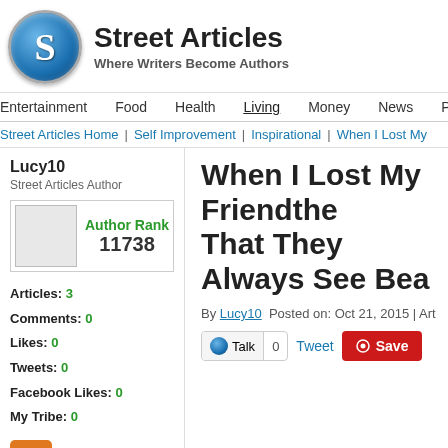Street Articles — Where Writers Become Authors
Entertainment | Food | Health | Living | Money | News | Politics | Spo...
Street Articles Home | Self Improvement | Inspirational | When I Lost My ...
Lucy10
Street Articles Author
Author Rank 11738
Articles: 3
Comments: 0
Likes: 0
Tweets: 0
Facebook Likes: 0
My Tribe: 0
When I Lost My Friendthe That They Always See Bea...
By Lucy10  Posted on: Oct 21, 2015  Article Rank:
Talk 0   Tweet   Save